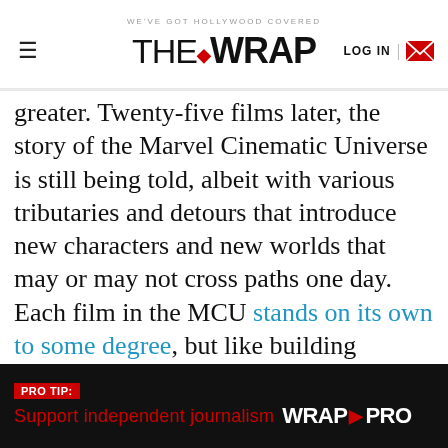WE'VE GOT HOLLYWOOD COVERED | THE WRAP | LOG IN
greater. Twenty-five films later, the story of the Marvel Cinematic Universe is still being told, albeit with various tributaries and detours that introduce new characters and new worlds that may or may not cross paths one day. Each film in the MCU stands on its own to some degree, but like building blocks, they all connect as part of one interconnected universe. And in that way, watching the Marvel movies in order tells one grand story.

There are a couple of different ways to watch the MCU movies, but below we run down how to watch the Marvel films in chronological order. Indeed, some
PRO TIP: Support independent journalism WRAP PRO